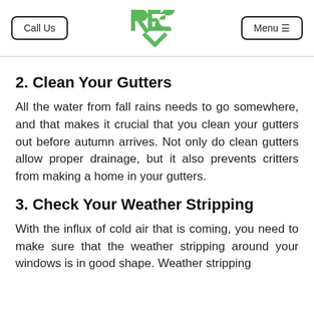Call Us | RES logo | Menu
2. Clean Your Gutters
All the water from fall rains needs to go somewhere, and that makes it crucial that you clean your gutters out before autumn arrives. Not only do clean gutters allow proper drainage, but it also prevents critters from making a home in your gutters.
3. Check Your Weather Stripping
With the influx of cold air that is coming, you need to make sure that the weather stripping around your windows is in good shape. Weather stripping